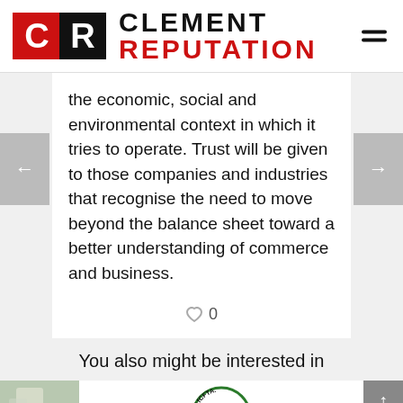CLEMENT REPUTATION
the economic, social and environmental context in which it tries to operate. Trust will be given to those companies and industries that recognise the need to move beyond the balance sheet toward a better understanding of commerce and business.
♥ 0
You also might be interested in
[Figure (logo): AfCFTA circular logo]